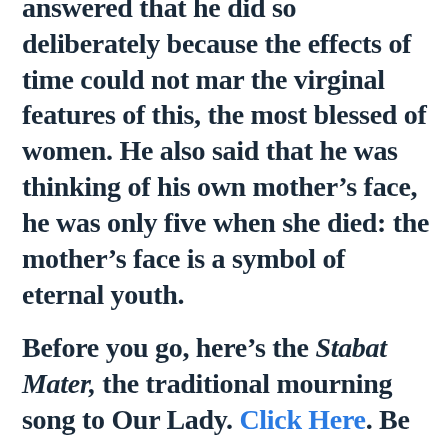answered that he did so deliberately because the effects of time could not mar the virginal features of this, the most blessed of women. He also said that he was thinking of his own mother's face, he was only five when she died: the mother's face is a symbol of eternal youth.

Before you go, here's the Stabat Mater, the traditional mourning song to Our Lady. Click Here. Be sure